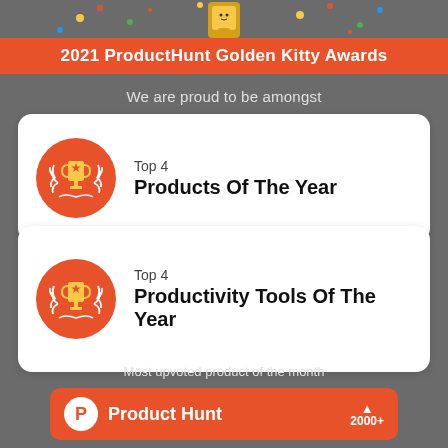[Figure (illustration): Trophy icon with confetti at top of banner]
2021 ProductHunt Golden Kitty Awards
We are proud to be amongst
[Figure (illustration): Orange circle with trophy icon and laurel wreath]
Top 4
Products Of The Year
[Figure (illustration): Orange circle with trophy icon and laurel wreath]
Top 4
Productivity Tools Of The Year
Most upvoted product of the month
[Figure (logo): Product Hunt logo card with upvote count 2000+]